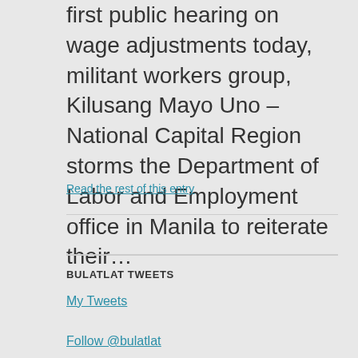first public hearing on wage adjustments today, militant workers group, Kilusang Mayo Uno – National Capital Region storms the Department of Labor and Employment office in Manila to reiterate their…
Read the rest of this entry
BULATLAT TWEETS
My Tweets
Follow @bulatlat